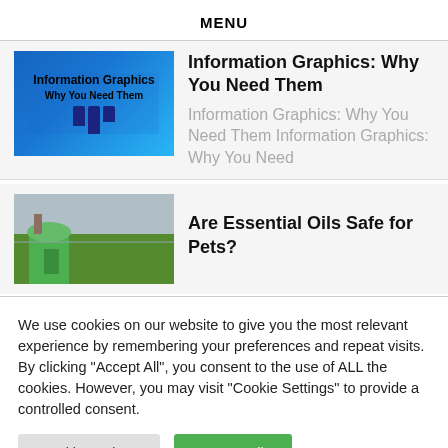MENU
Information Graphics: Why You Need Them
Information Graphics: Why You Need Them Information Graphics: Why You Need
Are Essential Oils Safe for Pets?
We use cookies on our website to give you the most relevant experience by remembering your preferences and repeat visits. By clicking "Accept All", you consent to the use of ALL the cookies. However, you may visit "Cookie Settings" to provide a controlled consent.